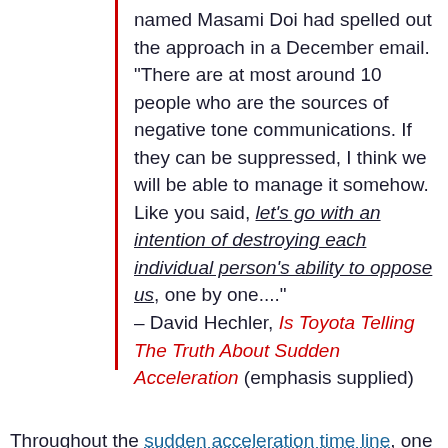named Masami Doi had spelled out the approach in a December email. "There are at most around 10 people who are the sources of negative tone communications. If they can be suppressed, I think we will be able to manage it somehow. Like you said, let's go with an intention of destroying each individual person's ability to oppose us, one by one...."
– David Hechler, Is Toyota Telling The Truth About Sudden Acceleration (emphasis supplied)
Throughout the sudden acceleration time line, one thing has